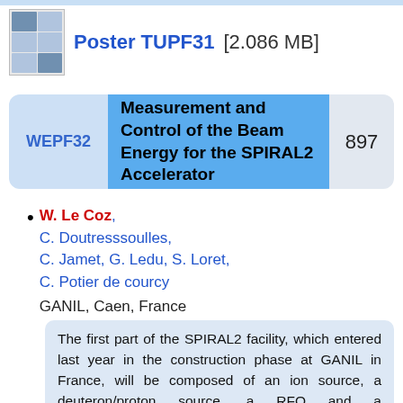[Figure (other): Thumbnail image of a poster document]
Poster TUPF31 [2.086 MB]
WEPF32 — Measurement and Control of the Beam Energy for the SPIRAL2 Accelerator — 897
W. Le Coz, C. Doutresssoulles, C. Jamet, G. Ledu, S. Loret, C. Potier de courcy — GANIL, Caen, France
The first part of the SPIRAL2 facility, which entered last year in the construction phase at GANIL in France, will be composed of an ion source, a deuteron/proton source, a RFQ and a superconducting linear accelerator delivering high intensities, up to 5 mA and 40